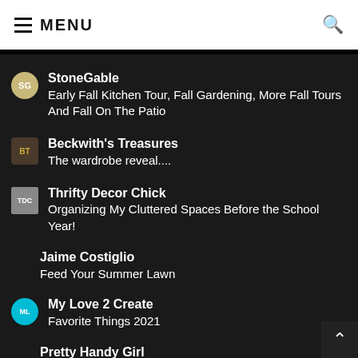MENU
StoneGable
Early Fall Kitchen Tour, Fall Gardening, More Fall Tours And Fall On The Patio
Beckwith's Treasures
The wardrobe reveal....
Thrifty Decor Chick
Organizing My Cluttered Spaces Before the School Year!
Jaime Costiglio
Feed Your Summer Lawn
My Love 2 Create
Favorite Things 2021
Pretty Handy Girl
Millie's Remodel: Revealing the Ugly Ranch to Mid-Century Modern Dream House